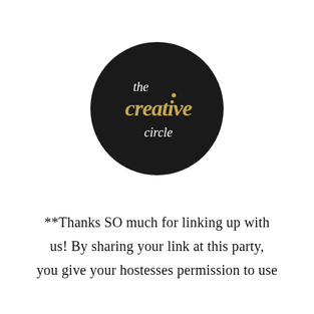[Figure (logo): The Creative Circle logo: black circle with white script text 'the' and gold/yellow handwritten script 'creative' and white text 'circle']
**Thanks SO much for linking up with us! By sharing your link at this party, you give your hostesses permission to use